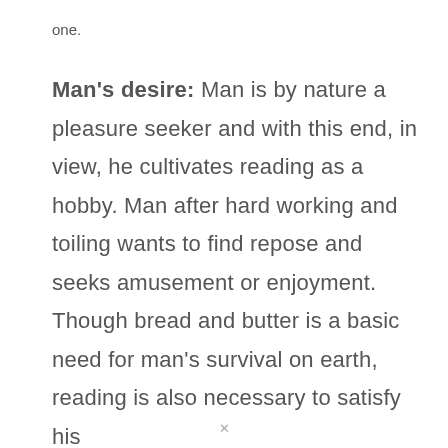one.
Man's desire: Man is by nature a pleasure seeker and with this end, in view, he cultivates reading as a hobby. Man after hard working and toiling wants to find repose and seeks amusement or enjoyment. Though bread and butter is a basic need for man's survival on earth, reading is also necessary to satisfy his